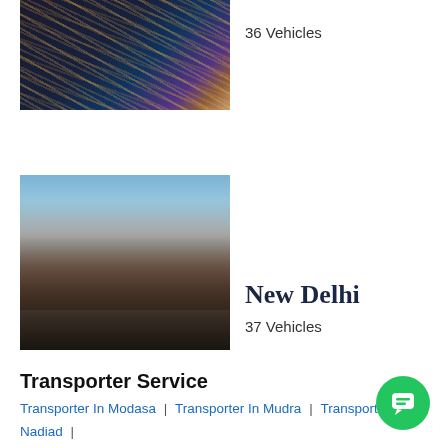[Figure (photo): Dark abstract image with golden light streaks on dark background]
36 Vehicles
[Figure (photo): Photo of New Delhi temple/monument reflected in water, blue sky with clouds]
New Delhi
37 Vehicles
Transporter Service
Transporter In Modasa | Transporter In Mudra | Transporter In Nadiad | Transporter In Odhav
[Figure (other): Green circular chat button with speech bubble icon]